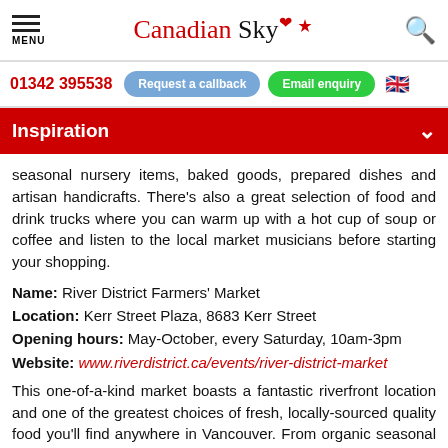Canadian Sky — MENU header with search icon
01342 395538  Request a callback  Email enquiry
Inspiration
seasonal nursery items, baked goods, prepared dishes and artisan handicrafts. There's also a great selection of food and drink trucks where you can warm up with a hot cup of soup or coffee and listen to the local market musicians before starting your shopping.
Name: River District Farmers' Market
Location: Kerr Street Plaza, 8683 Kerr Street
Opening hours: May-October, every Saturday, 10am-3pm
Website: www.riverdistrict.ca/events/river-district-market
This one-of-a-kind market boasts a fantastic riverfront location and one of the greatest choices of fresh, locally-sourced quality food you'll find anywhere in Vancouver. From organic seasonal produce, baked goods, grass-fed organic